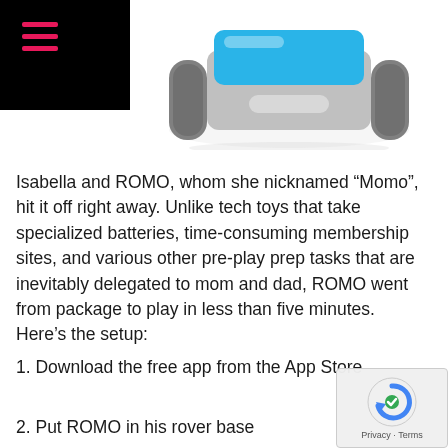[Figure (photo): A ROMO robot toy on a rover base, viewed from the top/front. The robot has a blue and gray color scheme with tank-like treads.]
Isabella and ROMO, whom she nicknamed “Momo”, hit it off right away. Unlike tech toys that take specialized batteries, time-consuming membership sites, and various other pre-play prep tasks that are inevitably delegated to mom and dad, ROMO went from package to play in less than five minutes. Here’s the setup:
1. Download the free app from the App Store
2. Put ROMO in his rover base